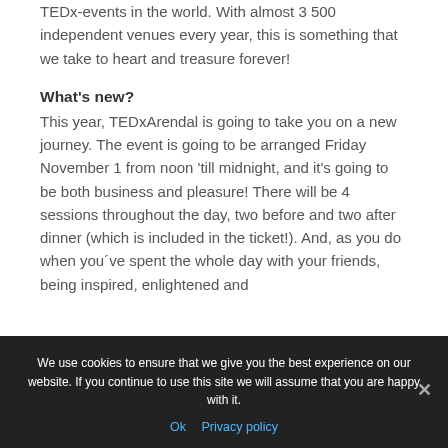years ago, TEDxArendal was mentioned as top 3 TEDx-events in the world. With almost 3500 independent venues every year, this is something that we take to heart and treasure forever!
What's new?
This year, TEDxArendal is going to take you on a new journey. The event is going to be arranged Friday November 1 from noon 'till midnight, and it's going to be both business and pleasure! There will be 4 sessions throughout the day, two before and two after dinner (which is included in the ticket!). And, as you do when you've spent the whole day with your friends, being inspired, enlightened and
We use cookies to ensure that we give you the best experience on our website. If you continue to use this site we will assume that you are happy with it.